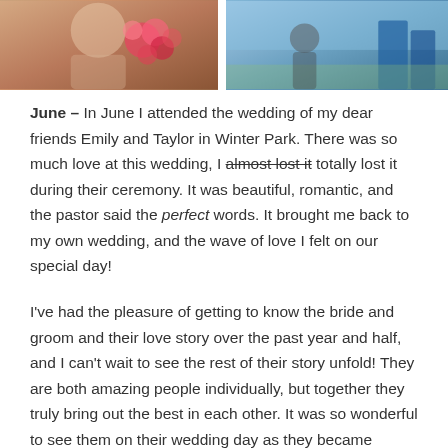[Figure (photo): Two side-by-side photos cropped at top. Left photo shows a couple with colorful flowers. Right photo shows outdoor scene with blue structures.]
June – In June I attended the wedding of my dear friends Emily and Taylor in Winter Park. There was so much love at this wedding, I almost lost it totally lost it during their ceremony. It was beautiful, romantic, and the pastor said the perfect words. It brought me back to my own wedding, and the wave of love I felt on our special day!
I've had the pleasure of getting to know the bride and groom and their love story over the past year and half, and I can't wait to see the rest of their story unfold! They are both amazing people individually, but together they truly bring out the best in each other. It was so wonderful to see them on their wedding day as they became husband and wife. I know they have a lifetime of happiness ahead of them. (They may also be two of the six